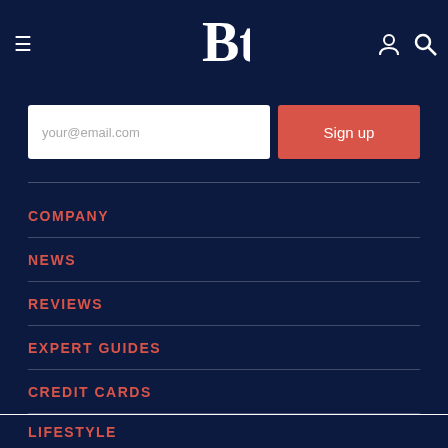Beacon Townsend website header with hamburger menu, logo, user icon, and search icon
your@email.com
Sign up
COMPANY
NEWS
REVIEWS
EXPERT GUIDES
CREDIT CARDS
LIFESTYLE